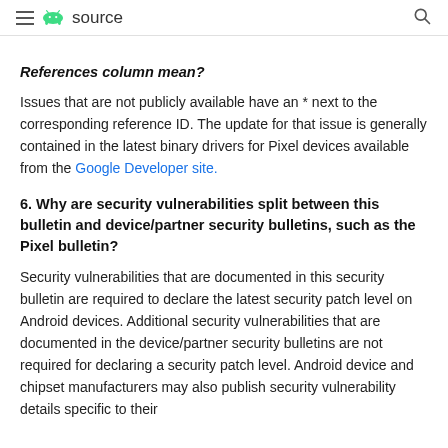≡ [android logo] source [search icon]
References column mean?
Issues that are not publicly available have an * next to the corresponding reference ID. The update for that issue is generally contained in the latest binary drivers for Pixel devices available from the Google Developer site.
6. Why are security vulnerabilities split between this bulletin and device/partner security bulletins, such as the Pixel bulletin?
Security vulnerabilities that are documented in this security bulletin are required to declare the latest security patch level on Android devices. Additional security vulnerabilities that are documented in the device/partner security bulletins are not required for declaring a security patch level. Android device and chipset manufacturers may also publish security vulnerability details specific to their